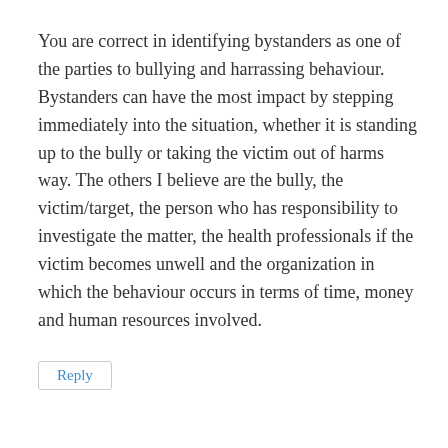You are correct in identifying bystanders as one of the parties to bullying and harrassing behaviour. Bystanders can have the most impact by stepping immediately into the situation, whether it is standing up to the bully or taking the victim out of harms way. The others I believe are the bully, the victim/target, the person who has responsibility to investigate the matter, the health professionals if the victim becomes unwell and the organization in which the behaviour occurs in terms of time, money and human resources involved.
Reply